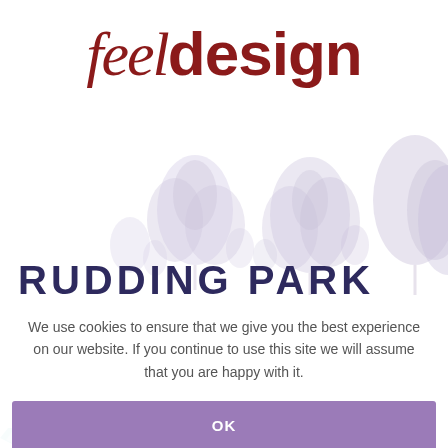[Figure (logo): feeldesign logo with italic serif 'feel' and bold sans-serif 'design' in dark red/maroon, with faded lavender plant silhouettes in background]
RUDDING PARK
We use cookies to ensure that we give you the best experience on our website. If you continue to use this site we will assume that you are happy with it.
OK
[Figure (logo): Partial teal logo and uppercase teal text at bottom, partially cut off]